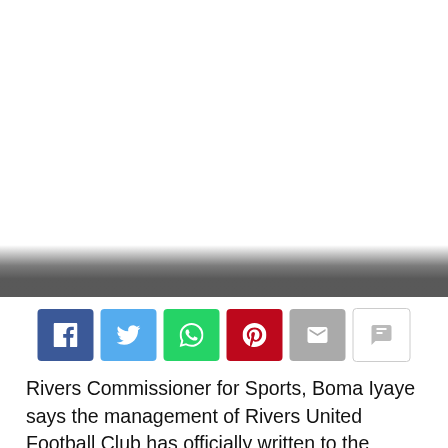[Figure (other): Blank white image area at top of page with gradient overlay at bottom]
[Figure (other): Social sharing buttons row: Facebook (blue), Twitter (light blue), WhatsApp (green), Pinterest (red), Email (grey), Comment (white/outline)]
Rivers Commissioner for Sports, Boma Iyaye says the management of Rivers United Football Club has officially written to the League Management Company (LMC), protesting the use of an ineligible player in the club's match-